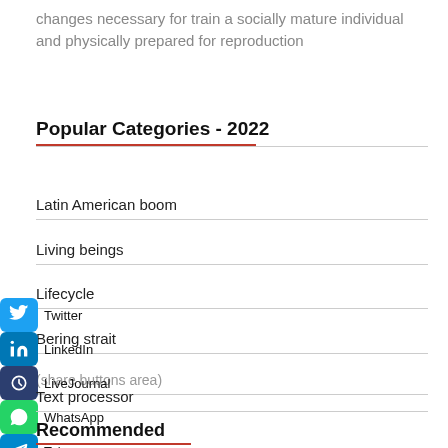changes necessary for train a socially mature individual and physically prepared for reproduction
Popular Categories - 2022
Latin American boom
Living beings
Lifecycle
Bering strait
List-item (partially obscured by social share overlay)
Text processor
Recommended